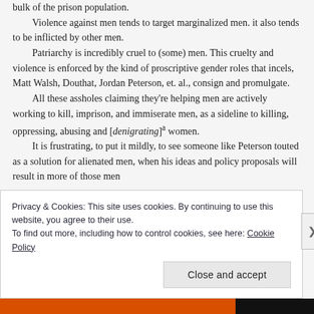bulk of the prison population.

Violence against men tends to target marginalized men. it also tends to be inflicted by other men.

Patriarchy is incredibly cruel to (some) men. This cruelty and violence is enforced by the kind of proscriptive gender roles that incels, Matt Walsh, Douthat, Jordan Peterson, et. al., consign and promulgate.

All these assholes claiming they're helping men are actively working to kill, imprison, and immiserate men, as a sideline to killing, oppressing, abusing and [denigrating]^a women.

It is frustrating, to put it mildly, to see someone like Peterson touted as a solution for alienated men, when his ideas and policy proposals will result in more of those men
Privacy & Cookies: This site uses cookies. By continuing to use this website, you agree to their use.
To find out more, including how to control cookies, see here: Cookie Policy
Close and accept